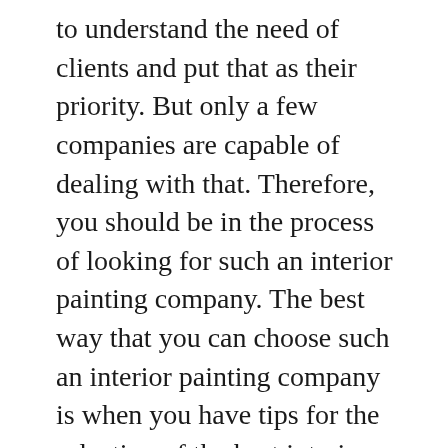to understand the need of clients and put that as their priority. But only a few companies are capable of dealing with that. Therefore, you should be in the process of looking for such an interior painting company. The best way that you can choose such an interior painting company is when you have tips for the selection of the best interior painting company. Here are what you should use when it comes to the selection of an interior painting company. You should think of the location of the interior painting company you wish to choose. The location of any interior painting company is essential when choosing an interior painting company as you will get more answers to the question about their reputation. You can look at the interior painting company with not only a postal code but with a valid office for their operation. Any interior painting company you choose must have a location for its operation. It will be the way when the interior painting company of your choice comes from